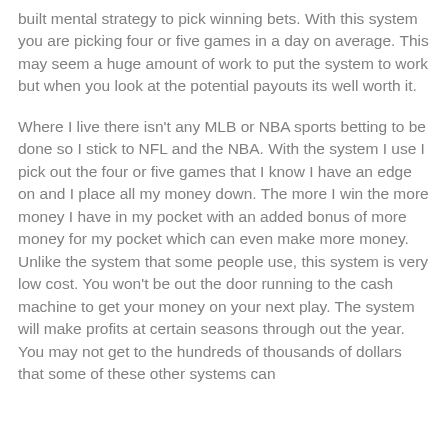built mental strategy to pick winning bets. With this system you are picking four or five games in a day on average. This may seem a huge amount of work to put the system to work but when you look at the potential payouts its well worth it.
Where I live there isn't any MLB or NBA sports betting to be done so I stick to NFL and the NBA. With the system I use I pick out the four or five games that I know I have an edge on and I place all my money down. The more I win the more money I have in my pocket with an added bonus of more money for my pocket which can even make more money. Unlike the system that some people use, this system is very low cost. You won't be out the door running to the cash machine to get your money on your next play. The system will make profits at certain seasons through out the year. You may not get to the hundreds of thousands of dollars that some of these other systems can